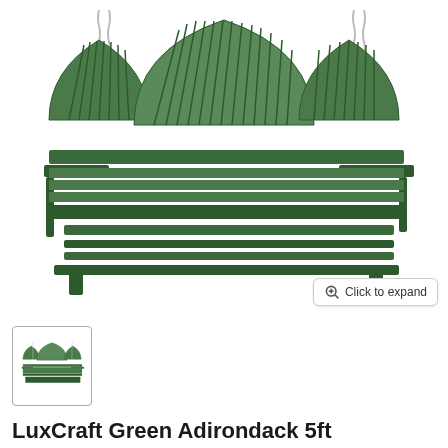[Figure (photo): Green LuxCraft Adirondack 5ft porch swing with three fan-back panels, armrests, and hanging chains against white background]
[Figure (photo): Small thumbnail of the same green LuxCraft Adirondack porch swing]
LuxCraft Green Adirondack 5ft